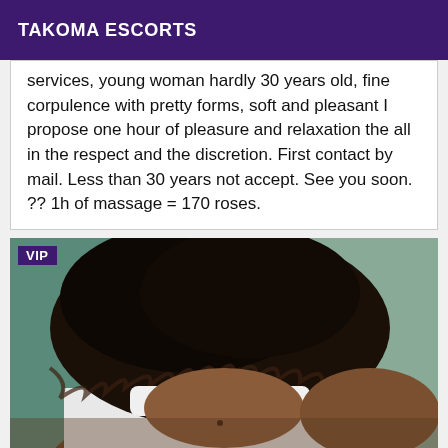TAKOMA ESCORTS
services, young woman hardly 30 years old, fine corpulence with pretty forms, soft and pleasant I propose one hour of pleasure and relaxation the all in the respect and the discretion. First contact by mail. Less than 30 years not accept. See you soon. ?? 1h of massage = 170 roses.
[Figure (photo): A close-up photo of a person's back and shoulders, with dark curly hair visible, wearing a white top. A VIP badge is shown in the top-left corner.]